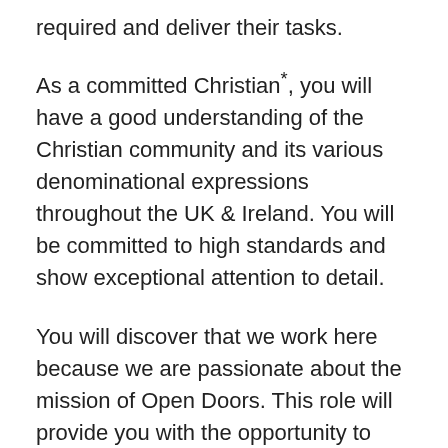required and deliver their tasks.
As a committed Christian*, you will have a good understanding of the Christian community and its various denominational expressions throughout the UK & Ireland. You will be committed to high standards and show exceptional attention to detail.
You will discover that we work here because we are passionate about the mission of Open Doors. This role will provide you with the opportunity to use your God-given character and talents to contribute to the work of Open Doors, and to be part of a team that seeks to grow the charity, to support and encourage one another, and uphold